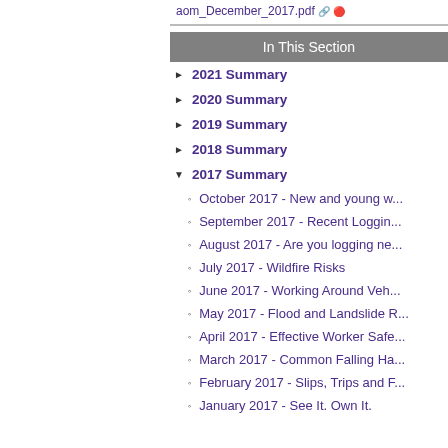aom_December_2017.pdf
In This Section
2021 Summary
2020 Summary
2019 Summary
2018 Summary
2017 Summary
October 2017 - New and young w...
September 2017 - Recent Loggin...
August 2017 - Are you logging ne...
July 2017 - Wildfire Risks
June 2017 - Working Around Veh...
May 2017 - Flood and Landslide R...
April 2017 - Effective Worker Safe...
March 2017 - Common Falling Ha...
February 2017 - Slips, Trips and F...
January 2017 - See It. Own It.